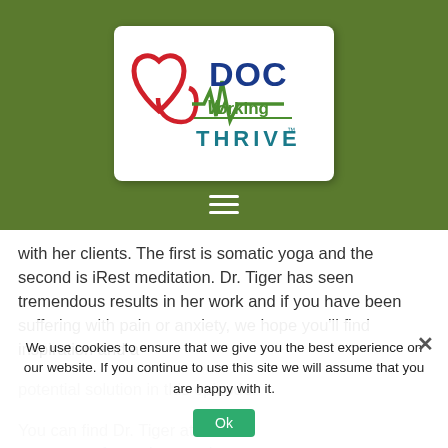[Figure (logo): Doc Working Thrive logo — red heart with stethoscope forming the outline, blue DOC text, green Working text with EKG waveform, teal THRIVE text below]
with her clients. The first is somatic yoga and the second is iRest meditation. Dr. Tiger has seen tremendous results in her work and if you have been suffering with pain or anxiety, we hope you'll find inspiration and a potential solution in this episode.
You can find Dr. Tiger at www.stressfreemd.net and robyntiger@stressfreemd.net or find her on LinkedIn at
We use cookies to ensure that we give you the best experience on our website. If you continue to use this site we will assume that you are happy with it.